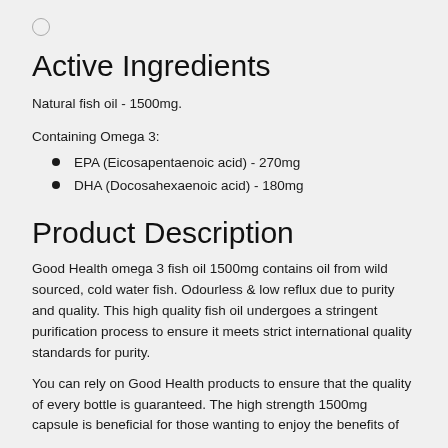Active Ingredients
Natural fish oil - 1500mg.
Containing Omega 3:
EPA (Eicosapentaenoic acid) - 270mg
DHA (Docosahexaenoic acid) - 180mg
Product Description
Good Health omega 3 fish oil 1500mg contains oil from wild sourced, cold water fish. Odourless & low reflux due to purity and quality. This high quality fish oil undergoes a stringent purification process to ensure it meets strict international quality standards for purity.
You can rely on Good Health products to ensure that the quality of every bottle is guaranteed. The high strength 1500mg capsule is beneficial for those wanting to enjoy the benefits of